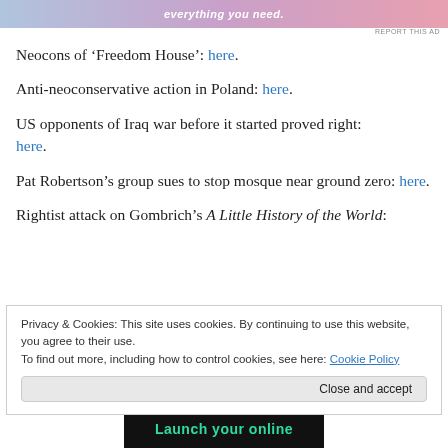[Figure (illustration): Ad banner with gradient pink/purple background and italic white text 'everything you need.']
REPORT THIS AD
Neocons of ‘Freedom House’: here.
Anti-neoconservative action in Poland: here.
US opponents of Iraq war before it started proved right: here.
Pat Robertson’s group sues to stop mosque near ground zero: here.
Rightist attack on Gombrich’s A Little History of the World:
Privacy & Cookies: This site uses cookies. By continuing to use this website, you agree to their use.
To find out more, including how to control cookies, see here: Cookie Policy
Close and accept
[Figure (illustration): Bottom ad banner with dark background and teal text 'Launch your online']